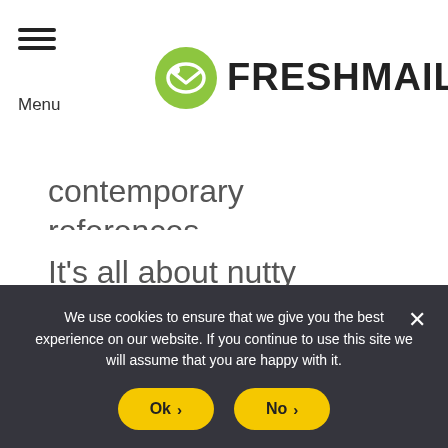Menu | FRESHMAIL
contemporary references.
It's all about nutty conspiracy theories like Big Foot, faking the moon landing and Area 51.
[Figure (other): Dark background section]
We use cookies to ensure that we give you the best experience on our website. If you continue to use this site we will assume that you are happy with it.
Ok › No ›